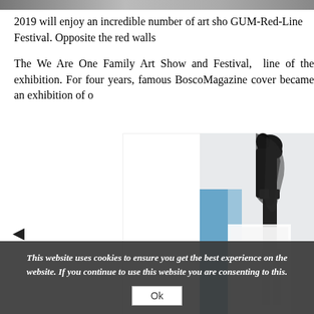[Figure (photo): Partial top image bar, dark/grey tones, cropped]
2019 will enjoy an incredible number of art sho… GUM-Red-Line Festival. Opposite the red walls…
The We Are One Family Art Show and Festival,… line of the exhibition. For four years, famous… BoscoMagazine cover became an exhibition of o…
[Figure (photo): Artwork photograph showing a dark sculptural figure/statue against white background, partially visible, with blue architectural element behind]
This website uses cookies to ensure you get the best experience on the website. If you continue to use this website you are consenting to this.